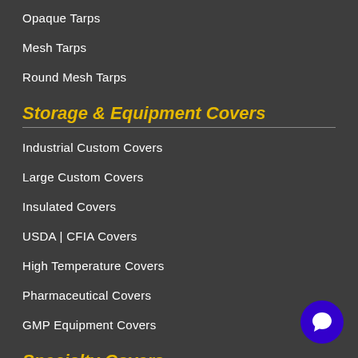Opaque Tarps
Mesh Tarps
Round Mesh Tarps
Storage & Equipment Covers
Industrial Custom Covers
Large Custom Covers
Insulated Covers
USDA | CFIA Covers
High Temperature Covers
Pharmaceutical Covers
GMP Equipment Covers
Specialty Covers
Fumigation Tarps | Tarpaulins